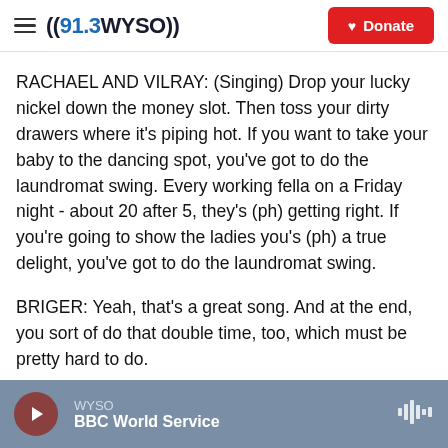((91.3 WYSO)) — Donate
RACHAEL AND VILRAY: (Singing) Drop your lucky nickel down the money slot. Then toss your dirty drawers where it's piping hot. If you want to take your baby to the dancing spot, you've got to do the laundromat swing. Every working fella on a Friday night - about 20 after 5, they's (ph) getting right. If you're going to show the ladies you's (ph) a true delight, you've got to do the laundromat swing.
BRIGER: Yeah, that's a great song. And at the end, you sort of do that double time, too, which must be pretty hard to do.
WYSO — BBC World Service